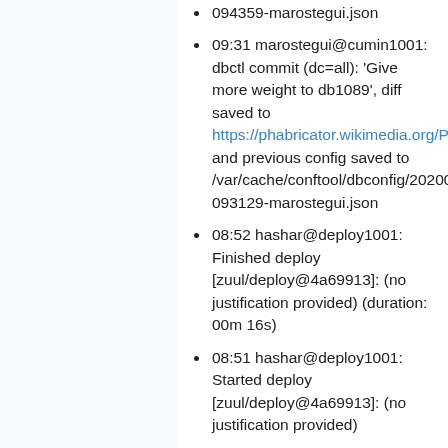094359-marostegui.json
09:31 marostegui@cumin1001: dbctl commit (dc=all): 'Give more weight to db1089', diff saved to https://phabricator.wikimedia.org/P10952 and previous config saved to /var/cache/conftool/dbconfig/20200410-093129-marostegui.json
08:52 hashar@deploy1001: Finished deploy [zuul/deploy@4a69913]: (no justification provided) (duration: 00m 16s)
08:51 hashar@deploy1001: Started deploy [zuul/deploy@4a69913]: (no justification provided)
08:46 hashar@deploy1001: Finished deploy [zuul/deploy@5a0a03a]: (no justification provided) (duration: 02m 20s)
08:44 hashar@deploy1001: Started